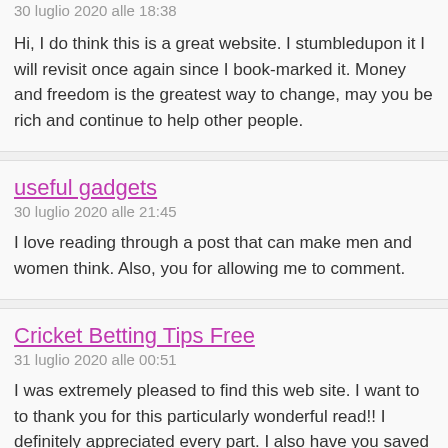30 luglio 2020 alle 18:38
Hi, I do think this is a great website. I stumbledupon it I will revisit once again since I book-marked it. Money and freedom is the greatest way to change, may you be rich and continue to help other people.
useful gadgets
30 luglio 2020 alle 21:45
I love reading through a post that can make men and women think. Also, you for allowing me to comment.
Cricket Betting Tips Free
31 luglio 2020 alle 00:51
I was extremely pleased to find this web site. I want to to thank you for this particularly wonderful read!! I definitely appreciated every part. I also have you saved to fav to look at new stuff on your web site.
kedinding
31 luglio 2020 alle 04:27